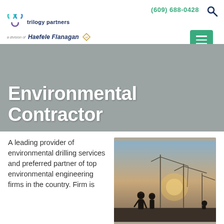(609) 688-0428
[Figure (logo): Trilogy Partners logo with colored dots and Haefele Flanagan division text]
Environmental Contractor
A leading provider of environmental drilling services and preferred partner of top environmental engineering firms in the country. Firm is
[Figure (photo): Silhouettes of construction workers with cranes against a sunset sky]